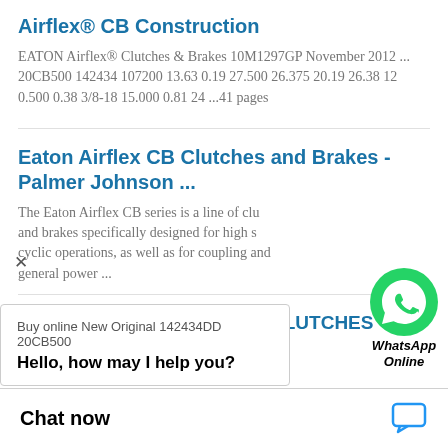Airflex® CB Construction
EATON Airflex® Clutches & Brakes 10M1297GP November 2012 ... 20CB500 142434 107200 13.63 0.19 27.500 26.375 20.19 26.38 12 0.500 0.38 3/8-18 15.000 0.81 24 ...41 pages
Eaton Airflex CB Clutches and Brakes - Palmer Johnson ...
The Eaton Airflex CB series is a line of clutches and brakes specifically designed for high speed, cyclic operations, as well as for coupling and general power ...
[Figure (logo): WhatsApp green circle icon with phone handset, labeled 'WhatsApp Online']
142434DD EATON AIRFLEX CLUTCHES AND BRAKES ...
Buy online New Original 142434DD 20CB500 ... RV for your Eaton Airflex Clutches And Brakes equipment. Best prices and worldwide shipping!
Hello, how may I help you?
Chat now